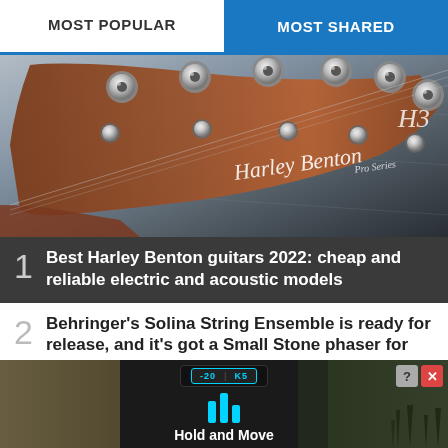MOST POPULAR | MOST SHARED
[Figure (photo): Close-up photo of a Harley Benton Pro Series guitar headstock with chrome tuning pegs on a rosewood neck, on a grey background]
1 Best Harley Benton guitars 2022: cheap and reliable electric and acoustic models
2 Behringer's Solina String Ensemble is ready for release, and it's got a Small Stone phaser for company
[Figure (screenshot): Advertisement banner for 'Hold and Move' app/product, showing a dark background with cyan bar graph icon and trees in background, with close buttons in top right corner]